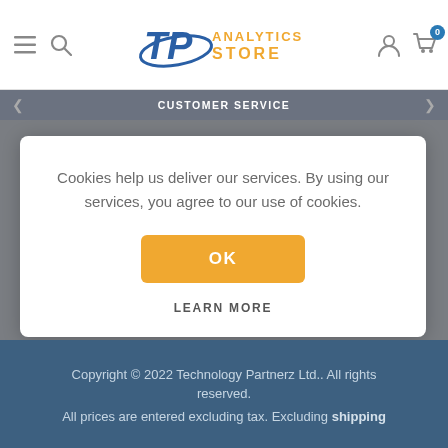[Figure (logo): TP Analytics Store logo — blue TP swoosh with orange 'ANALYTICS STORE' text]
CUSTOMER SERVICE
Cookies help us deliver our services. By using our services, you agree to our use of cookies.
OK
LEARN MORE
Copyright © 2022 Technology Partnerz Ltd.. All rights reserved.
All prices are entered excluding tax. Excluding shipping